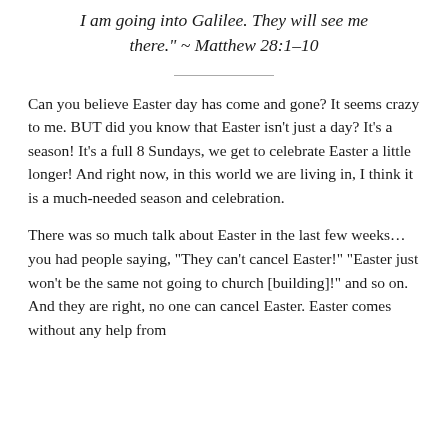I am going into Galilee. They will see me there." ~ Matthew 28:1-10
Can you believe Easter day has come and gone? It seems crazy to me. BUT did you know that Easter isn't just a day? It's a season! It's a full 8 Sundays, we get to celebrate Easter a little longer! And right now, in this world we are living in, I think it is a much-needed season and celebration.
There was so much talk about Easter in the last few weeks... you had people saying, "They can't cancel Easter!" "Easter just won't be the same not going to church [building]!" and so on. And they are right, no one can cancel Easter. Easter comes without any help from